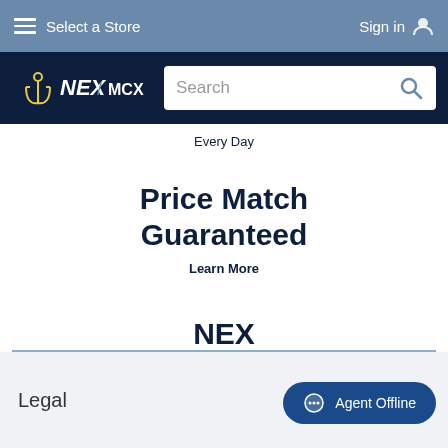Select a Store   Sign in
[Figure (logo): NEX / MCX logo with anchor icon on dark navy background, next to a search bar]
Every Day
Price Match Guaranteed
Learn More
NEX Gives Back
All Proceeds Go To Our Military Families
Legal
Agent Offline